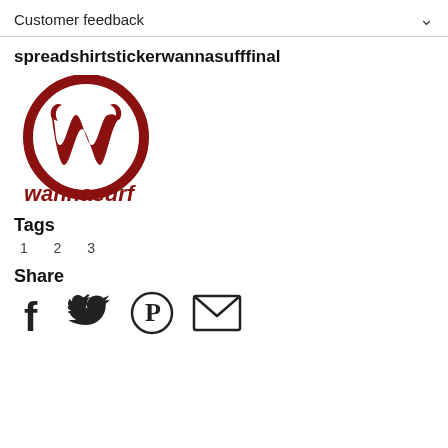Customer feedback
spreadshirtstickerwannasufffinal
[Figure (logo): Wannasurf circular logo: dark red/maroon circle outline with a stylized 'w' letter inside, and 'wannasurf' text below in dark red italic font]
Tags
1  2  3
Share
[Figure (infographic): Social share icons: Facebook (f), Twitter (bird), Pinterest (P), Email (envelope)]